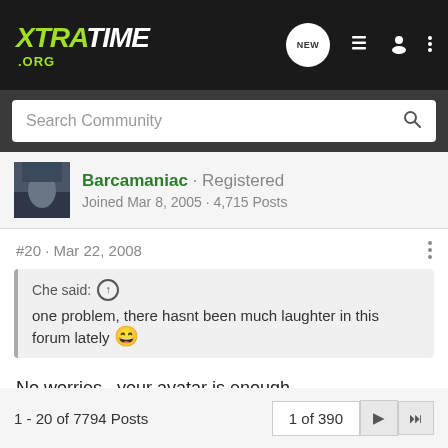XTRATIME .ORG
Search Community
Barcamaniac · Registered
Joined Mar 8, 2005 · 4,715 Posts
#20 · Mar 22, 2008
Che said: ↑
one problem, there hasnt been much laughter in this forum lately 😄
No worries...your avatar is enough.
1 - 20 of 7794 Posts   1 of 390